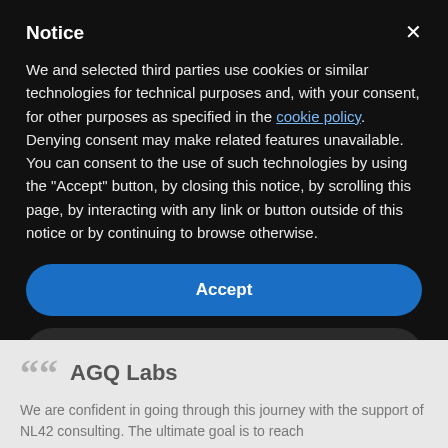Notice
We and selected third parties use cookies or similar technologies for technical purposes and, with your consent, for other purposes as specified in the cookie policy. Denying consent may make related features unavailable.
You can consent to the use of such technologies by using the "Accept" button, by closing this notice, by scrolling this page, by interacting with any link or button outside of this notice or by continuing to browse otherwise.
Accept
Learn more and customize
AGQ Labs
We are confident in going through this journey with the support of NL42 consulting. The ultimate goal is to reach